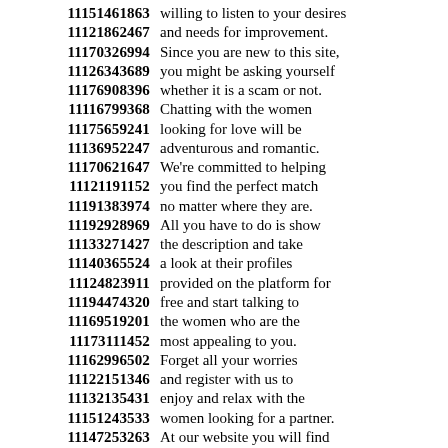11151461863 willing to listen to your desires 11121862467 and needs for improvement. 11170326994 Since you are new to this site, 11126343689 you might be asking yourself 11176908396 whether it is a scam or not. 11116799368 Chatting with the women 11175659241 looking for love will be 11136952247 adventurous and romantic. 11170621647 We're committed to helping 11121191152 you find the perfect match 11191383974 no matter where they are. 11192928969 All you have to do is show 11133271427 the description and take 11140365524 a look at their profiles 11124823911 provided on the platform for 11194474320 free and start talking to 11169519201 the women who are the 11173111452 most appealing to you. 11162996502 Forget all your worries 11122151346 and register with us to 11132135431 enjoy and relax with the 11151243533 women looking for a partner. 11147253263 At our website you will find 11146123249 the hottest and most beautiful 11191754168 single women in your area.